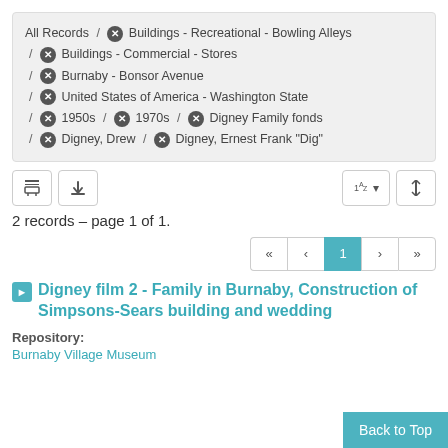All Records / ✕ Buildings - Recreational - Bowling Alleys / ✕ Buildings - Commercial - Stores / ✕ Burnaby - Bonsor Avenue / ✕ United States of America - Washington State / ✕ 1950s / ✕ 1970s / ✕ Digney Family fonds / ✕ Digney, Drew / ✕ Digney, Ernest Frank "Dig"
2 records – page 1 of 1.
Digney film 2 - Family in Burnaby, Construction of Simpsons-Sears building and wedding
Repository:
Burnaby Village Museum